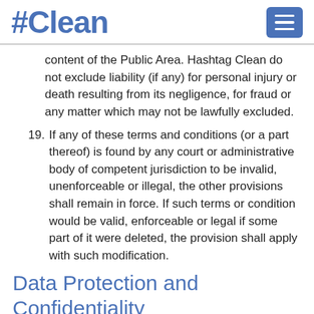#Clean
content of the Public Area. Hashtag Clean do not exclude liability (if any) for personal injury or death resulting from its negligence, for fraud or any matter which may not be lawfully excluded.
19. If any of these terms and conditions (or a part thereof) is found by any court or administrative body of competent jurisdiction to be invalid, unenforceable or illegal, the other provisions shall remain in force. If such terms or condition would be valid, enforceable or legal if some part of it were deleted, the provision shall apply with such modification.
Data Protection and Confidentiality